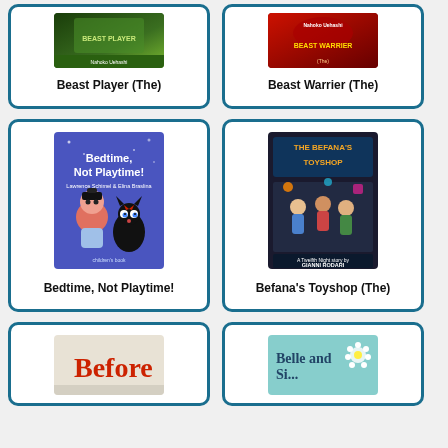[Figure (illustration): Book cover for Beast Player (The) - dark green tones]
Beast Player (The)
[Figure (illustration): Book cover for Beast Warrier (The) - red tones with author Nahoko Uehashi]
Beast Warrier (The)
[Figure (illustration): Book cover for Bedtime, Not Playtime! by Lawrence Schimel & Elina Braslina - blue background with illustrated child and black cat]
Bedtime, Not Playtime!
[Figure (illustration): Book cover for The Befana's Toyshop - dark background with children and toys, by Gianni Rodari]
Befana's Toyshop (The)
[Figure (illustration): Book cover for Before - partial view, light background with red text]
[Figure (illustration): Book cover for Belle and ... - partial view, teal/blue background]